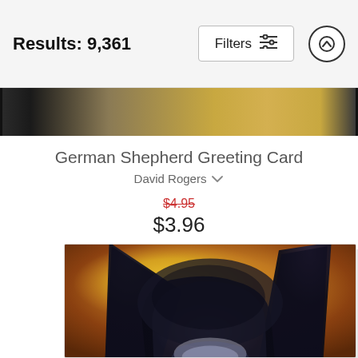Results: 9,361
[Figure (screenshot): Partially visible greeting card image strip at top, showing dark edges and golden/amber tones in the center]
German Shepherd Greeting Card
David Rogers
$4.95 (strikethrough) $3.96
[Figure (illustration): Watercolor painting of a German Shepherd dog, close-up view showing the top of the dog's head with large black ears and warm amber/golden background colors]